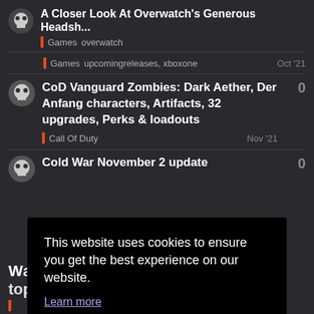A Closer Look At Overwatch's Generous Headsh...
Games  overwatch
Games  upcomingreleases, xboxone  Oct '21
CoD Vanguard Zombies: Dark Aether, Der Anfang characters, Artifacts, 32 upgrades, Perks & loadouts
Call Of Duty  Nov '21  0
Cold War November 2 update  0
[Figure (screenshot): Cookie consent overlay on dark gaming website background. Text reads: 'This website uses cookies to ensure you get the best experience on our website.' with a 'Learn more' link and a yellow 'Got it!' button.]
Want to read more? Browse other topics in